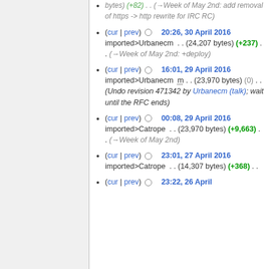(cur | prev) ○ 20:26, 30 April 2016 imported>Urbanecm . . (24,207 bytes) (+237) . . (→Week of May 2nd: +deploy)
(cur | prev) ○ 16:01, 29 April 2016 imported>Urbanecm m . . (23,970 bytes) (0) . . (Undo revision 471342 by Urbanecm (talk); wait until the RFC ends)
(cur | prev) ○ 00:08, 29 April 2016 imported>Catrope . . (23,970 bytes) (+9,663) . . (→Week of May 2nd)
(cur | prev) ○ 23:01, 27 April 2016 imported>Catrope . . (14,307 bytes) (+368) . .
(cur | prev) ○ 23:22, 26 April